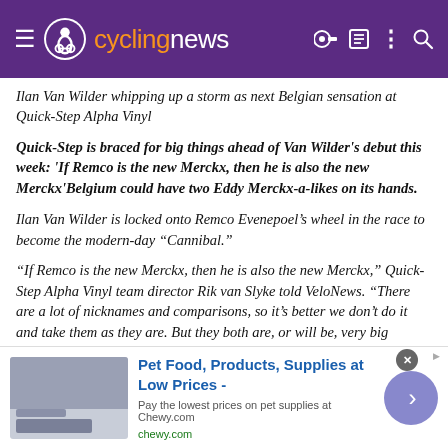cyclingnews
Ilan Van Wilder whipping up a storm as next Belgian sensation at Quick-Step Alpha Vinyl
Quick-Step is braced for big things ahead of Van Wilder's debut this week: 'If Remco is the new Merckx, then he is also the new Merckx'Belgium could have two Eddy Merckx-a-likes on its hands.
Ilan Van Wilder is locked onto Remco Evenepoel's wheel in the race to become the modern-day “Cannibal.”
“If Remco is the new Merckx, then he is also the new Merckx,” Quick-Step Alpha Vinyl team director Rik van Slyke told VeloNews. “There are a lot of nicknames and comparisons, so it’s better we don’t do it and take them as they are. But they both are, or will be, very big riders.”
Van Wilder, 21, makes his debut for Quick-Step Alpha Vinyl at the
[Figure (other): Advertisement banner: Pet Food, Products, Supplies at Low Prices - Chewy.com]